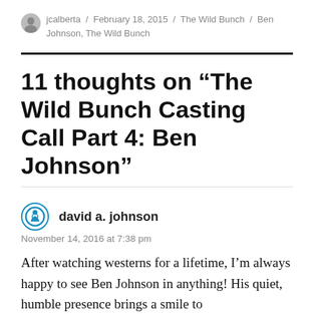jcalberta / February 18, 2015 / The Wild Bunch / Ben Johnson, The Wild Bunch
11 thoughts on “The Wild Bunch Casting Call Part 4: Ben Johnson”
david a. johnson
November 14, 2016 at 7:38 pm
After watching westerns for a lifetime, I’m always happy to see Ben Johnson in anything! His quiet, humble presence brings a smile to